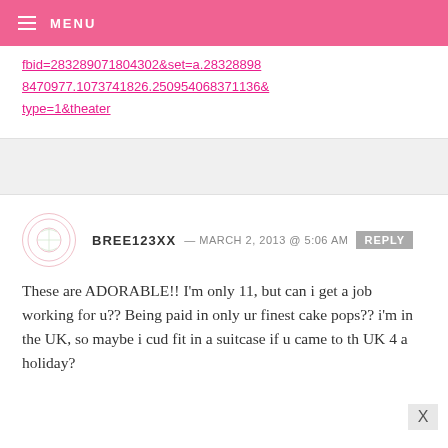MENU
fbid=283289071804302&set=a.283288988470977.1073741826.250954068371136&type=1&theater
BREE123XX — MARCH 2, 2013 @ 5:06 AM REPLY
These are ADORABLE!! I'm only 11, but can i get a job working for u?? Being paid in only ur finest cake pops?? i'm in the UK, so maybe i cud fit in a suitcase if u came to th UK 4 a holiday?